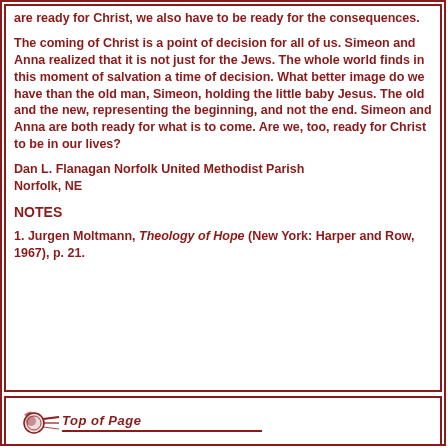are ready for Christ, we also have to be ready for the consequences.
The coming of Christ is a point of decision for all of us. Simeon and Anna realized that it is not just for the Jews. The whole world finds in this moment of salvation a time of decision. What better image do we have than the old man, Simeon, holding the little baby Jesus. The old and the new, representing the beginning, and not the end. Simeon and Anna are both ready for what is to come. Are we, too, ready for Christ to be in our lives?
Dan L. Flanagan Norfolk United Methodist Parish Norfolk, NE
NOTES
1. Jurgen Moltmann, Theology of Hope (New York: Harper and Row, 1967), p. 21.
[Figure (logo): Top of Page link with stylized flame/comet icon and italic bold text 'Top of Page' with underline]